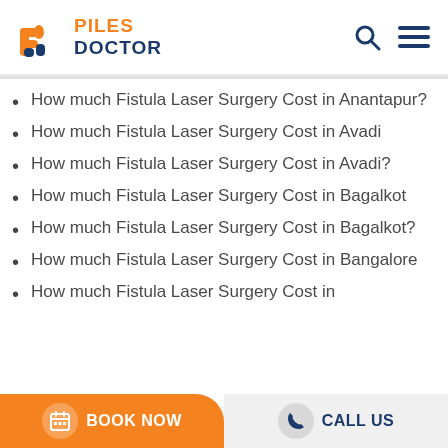[Figure (logo): Piles Doctor logo with orange and blue text]
How much Fistula Laser Surgery Cost in Anantapur?
How much Fistula Laser Surgery Cost in Avadi
How much Fistula Laser Surgery Cost in Avadi?
How much Fistula Laser Surgery Cost in Bagalkot
How much Fistula Laser Surgery Cost in Bagalkot?
How much Fistula Laser Surgery Cost in Bangalore
How much Fistula Laser Surgery Cost in